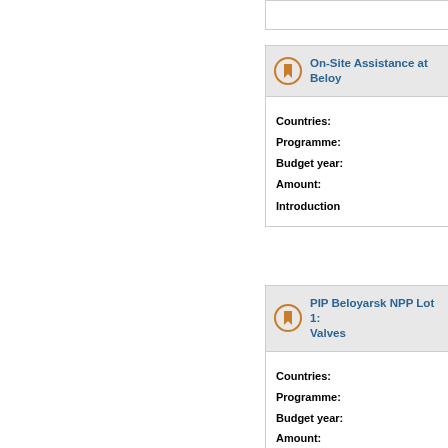On-Site Assistance at Belo...
Countries:
Programme:
Budget year:
Amount:

Introduction
PIP Beloyarsk NPP Lot 1: ... Valves
Countries:
Programme:
Budget year:
Amount:

Background